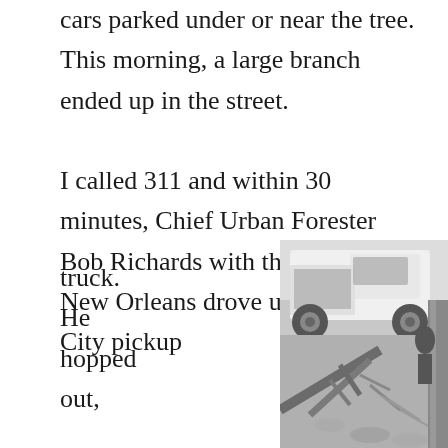cars parked under or near the tree. This morning, a large branch ended up in the street.

I called 311 and within 30 minutes, Chief Urban Forester Bob Richards with the City of New Orleans drove up in a white City pickup truck. He hopped out,
[Figure (photo): Black and white photo of a white City pickup truck with a large fallen tree branch in the foreground/street.]